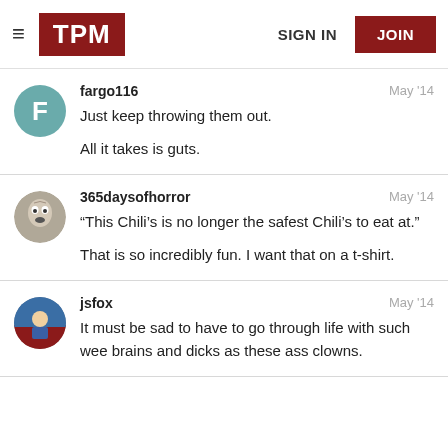TPM | SIGN IN | JOIN
fargo116 | May '14
Just keep throwing them out.

All it takes is guts.
365daysofhorror | May '14
“This Chili’s is no longer the safest Chili’s to eat at.”

That is so incredibly fun. I want that on a t-shirt.
jsfox | May '14
It must be sad to have to go through life with such wee brains and dicks as these ass clowns.